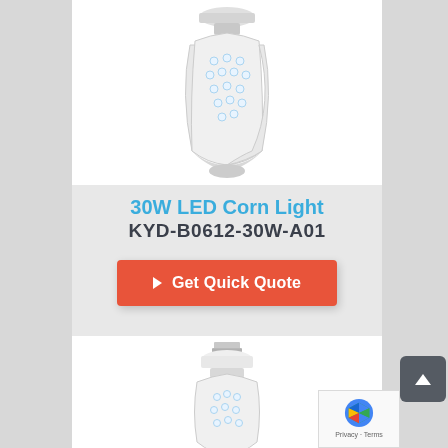[Figure (photo): LED corn light bulb (30W), white, shown from above with folded LED panels visible, against white background]
30W LED Corn Light
KYD-B0612-30W-A01
▶ Get Quick Quote
[Figure (photo): LED corn light bulb (second product), white with E27 screw base, shown from above, against white background — partially visible at bottom of page]